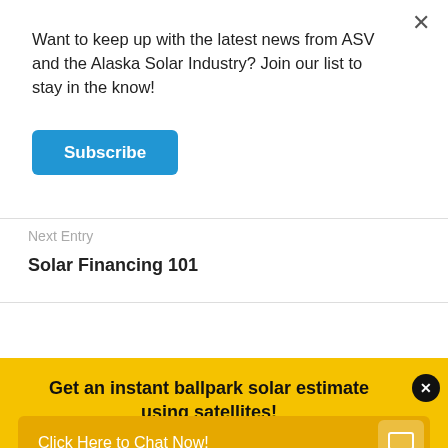Want to keep up with the latest news from ASV and the Alaska Solar Industry? Join our list to stay in the know!
Subscribe
Next Entry
Solar Financing 101
Join the discussion
Get an instant ballpark solar estimate using satellites!
Click Here to Chat Now!